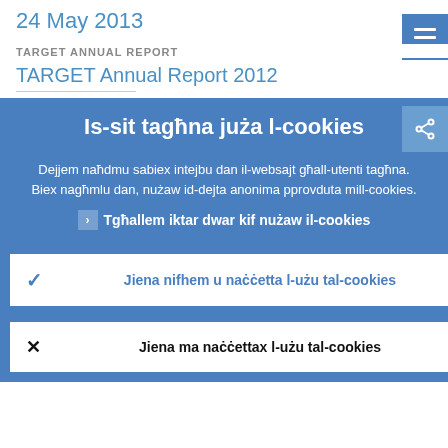24 May 2013
TARGET ANNUAL REPORT
TARGET Annual Report 2012
Is-sit tagħna juża l-cookies
Dejjem naħdmu sabiex intejbu dan il-websajt għall-utenti tagħna. Biex nagħmlu dan, nużaw id-dejta anonima pprovduta mill-cookies.
Tgħallem iktar dwar kif nużaw il-cookies
Jiena nifhem u naċċetta l-użu tal-cookies
Jiena ma naċċettax l-użu tal-cookies